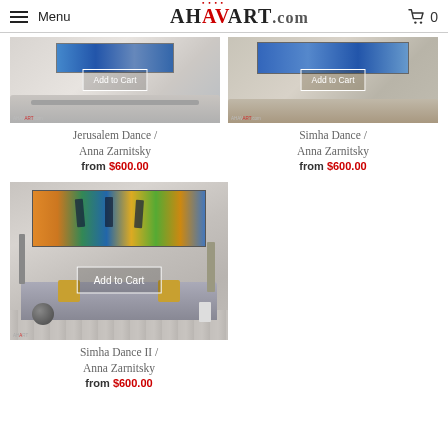Menu | AHAVART.com | Cart 0
[Figure (photo): Room scene with painting on wall showing 'Jerusalem Dance' artwork by Anna Zarnitsky with Add to Cart button overlay]
Jerusalem Dance / Anna Zarnitsky
from $600.00
[Figure (photo): Room scene with painting on wall showing 'Simha Dance' artwork by Anna Zarnitsky with Add to Cart button overlay]
Simha Dance / Anna Zarnitsky
from $600.00
[Figure (photo): Room scene with colorful painting of dancing figures on wall showing 'Simha Dance II' artwork by Anna Zarnitsky with Add to Cart button overlay]
Simha Dance II / Anna Zarnitsky
from $600.00